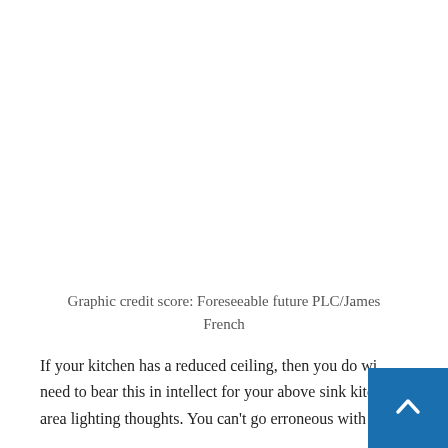Graphic credit score: Foreseeable future PLC/James French
If your kitchen has a reduced ceiling, then you do wi need to bear this in intellect for your above sink kitchen area lighting thoughts. You can't go erroneous with